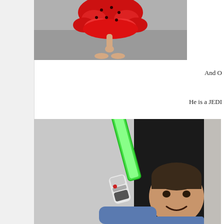[Figure (photo): Partial view of a child in a red polka-dot dress, showing lower body and bare feet on a carpet floor, cropped from above]
And O
He is a JEDI
[Figure (photo): A young boy smiling and holding a green lightsaber toy (Star Wars), wearing a blue shirt, with a dark background]